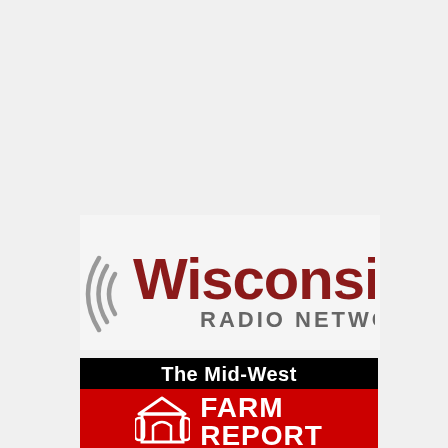[Figure (logo): Wisconsin Radio Network logo with radio wave lines and text 'Wisconsin RADIO NETWORK']
[Figure (logo): The Mid-West FARM REPORT logo with black top bar, red bottom section, barn icon, and white bold text]